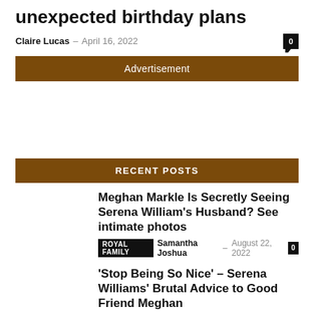unexpected birthday plans
Claire Lucas – April 16, 2022
Advertisement
RECENT POSTS
Meghan Markle Is Secretly Seeing Serena William's Husband? See intimate photos
ROYAL FAMILY Samantha Joshua – August 22, 2022 0
'Stop Being So Nice' – Serena Williams' Brutal Advice to Good Friend Meghan